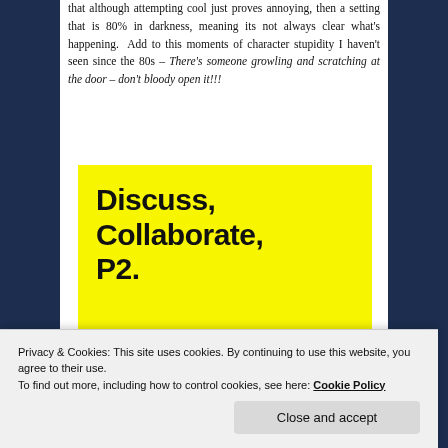that although attempting cool just proves annoying, then a setting that is 80% in darkness, meaning its not always clear what's happening. Add to this moments of character stupidity I haven't seen since the 80s – There's someone growling and scratching at the door – don't bloody open it!!!
[Figure (other): Yellow promotional banner with bold black text reading: Discuss, Collaborate, P2.]
Privacy & Cookies: This site uses cookies. By continuing to use this website, you agree to their use. To find out more, including how to control cookies, see here: Cookie Policy